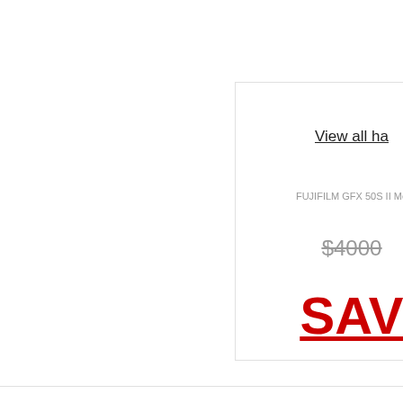View all ha
FUJIFILM GFX 50S II Me
$4000
SAV